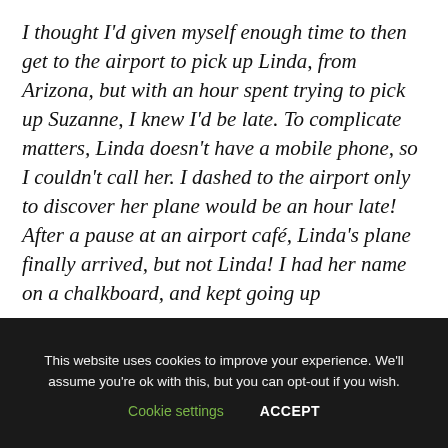I thought I'd given myself enough time to then get to the airport to pick up Linda, from Arizona, but with an hour spent trying to pick up Suzanne, I knew I'd be late. To complicate matters, Linda doesn't have a mobile phone, so I couldn't call her. I dashed to the airport only to discover her plane would be an hour late!  After a pause at an airport café, Linda's plane finally arrived, but not Linda! I had her name on a chalkboard, and  kept going up
This website uses cookies to improve your experience. We'll assume you're ok with this, but you can opt-out if you wish.
Cookie settings   ACCEPT